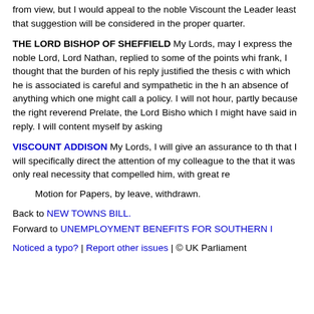from view, but I would appeal to the noble Viscount the Leader least that suggestion will be considered in the proper quarter.
THE LORD BISHOP OF SHEFFIELD My Lords, may I express the noble Lord, Lord Nathan, replied to some of the points whi frank, I thought that the burden of his reply justified the thesis with which he is associated is careful and sympathetic in the h an absence of anything which one might call a policy. I will no hour, partly because the right reverend Prelate, the Lord Bisho which I might have said in reply. I will content myself by asking
VISCOUNT ADDISON My Lords, I will give an assurance to th that I will specifically direct the attention of my colleague to th that it was only real necessity that compelled him, with great re
Motion for Papers, by leave, withdrawn.
Back to NEW TOWNS BILL. Forward to UNEMPLOYMENT BENEFITS FOR SOUTHERN I
Noticed a typo? | Report other issues | © UK Parliament